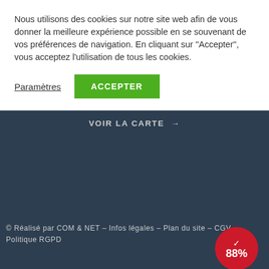Nous utilisons des cookies sur notre site web afin de vous donner la meilleure expérience possible en se souvenant de vos préférences de navigation. En cliquant sur ''Accepter'', vous acceptez l'utilisation de tous les cookies.
Paramètres   ACCEPTER
VOIR LA CARTE →
© Réalisé par COM & NET – Infos légales – Plan du site – CGV – Politique RGPD
[Figure (infographic): Red circular badge with a checkmark and '88%' text in white]